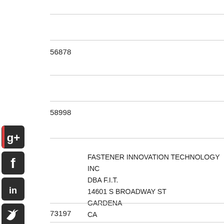56878
58998
FASTENER INNOVATION TECHNOLOGY INC
DBA F.I.T.
14601 S BROADWAY ST
GARDENA
CA
90248
310-538-1111
73197